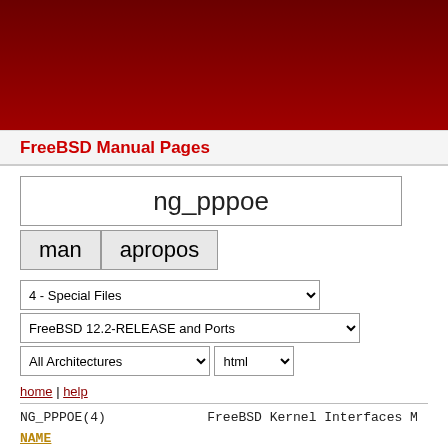FreeBSD Manual Pages
ng_pppoe
man | apropos
4 - Special Files
FreeBSD 12.2-RELEASE and Ports
All Architectures | html
home | help
NG_PPPOE(4)     FreeBSD Kernel Interfaces M
NAME
ng_pppoe -- RFC 2516 PPPoE protocol netgraph